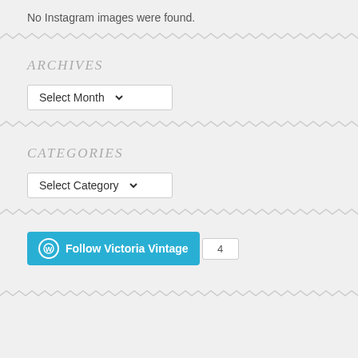No Instagram images were found.
ARCHIVES
Select Month
CATEGORIES
Select Category
Follow Victoria Vintage 4